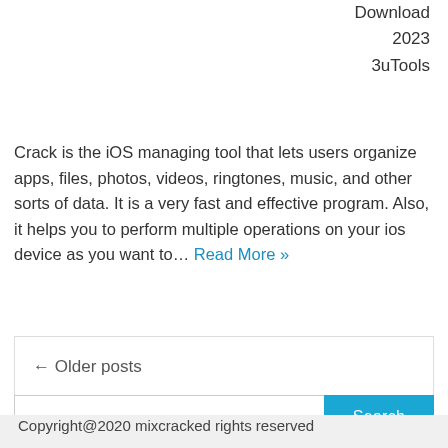Download
2023
3uTools
Crack is the iOS managing tool that lets users organize apps, files, photos, videos, ringtones, music, and other sorts of data. It is a very fast and effective program. Also, it helps you to perform multiple operations on your ios device as you want to… Read More »
← Older posts
Search
Copyright@2020 mixcracked rights reserved